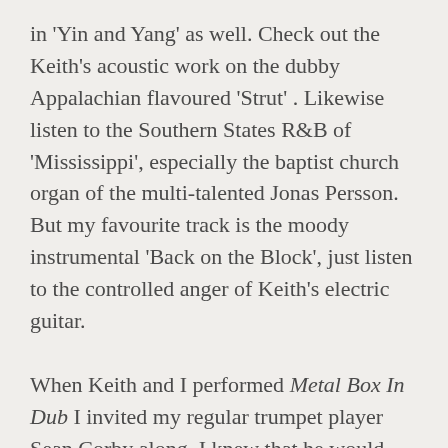in 'Yin and Yang' as well. Check out the Keith's acoustic work on the dubby Appalachian flavoured 'Strut' . Likewise listen to the Southern States R&B of 'Mississippi', especially the baptist church organ of the multi-talented Jonas Persson. But my favourite track is the moody instrumental 'Back on the Block', just listen to the controlled anger of Keith's electric guitar.

When Keith and I performed Metal Box In Dub I invited my regular trumpet player Sean Corby along. I knew that he would help inject an element of 'Electric period Miles' into the mix. Not long after we had finished recording Metal Box back in 1979 I heard Miles Davis's Dark